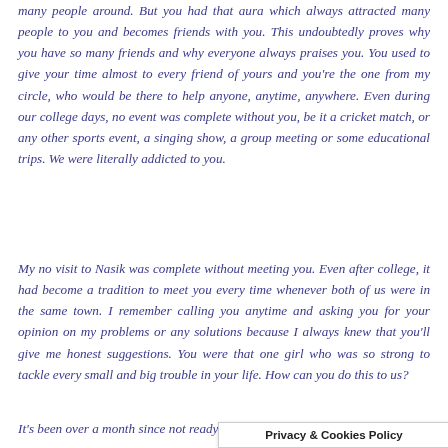many people around. But you had that aura which always attracted many people to you and becomes friends with you. This undoubtedly proves why you have so many friends and why everyone always praises you. You used to give your time almost to every friend of yours and you're the one from my circle, who would be there to help anyone, anytime, anywhere. Even during our college days, no event was complete without you, be it a cricket match, or any other sports event, a singing show, a group meeting or some educational trips. We were literally addicted to you.
My no visit to Nasik was complete without meeting you. Even after college, it had become a tradition to meet you every time whenever both of us were in the same town. I remember calling you anytime and asking you for your opinion on my problems or any solutions because I always knew that you'll give me honest suggestions. You were that one girl who was so strong to tackle every small and big trouble in your life. How can you do this to us?
It's been over a month since
not ready to